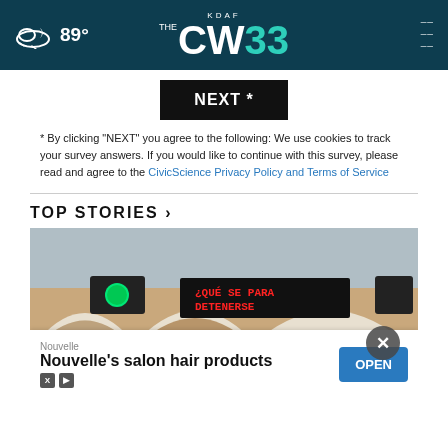KDAF CW33 — 89°
[Figure (screenshot): NEXT * button — black background, white bold text]
* By clicking "NEXT" you agree to the following: We use cookies to track your survey answers. If you would like to continue with this survey, please read and agree to the CivicScience Privacy Policy and Terms of Service
TOP STORIES ›
[Figure (photo): Photograph of a brick arch structure with a green traffic signal light and an LED sign reading 'PASE PARA DETENERSE' in red text]
[Figure (screenshot): Advertisement banner: Nouvelle — Nouvelle's salon hair products — OPEN button]